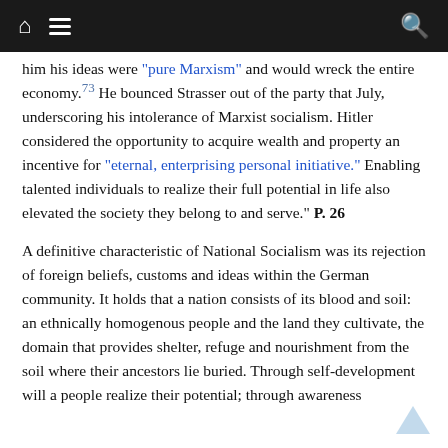Navigation bar with home, menu, and search icons
him his ideas were "pure Marxism" and would wreck the entire economy.73 He bounced Strasser out of the party that July, underscoring his intolerance of Marxist socialism. Hitler considered the opportunity to acquire wealth and property an incentive for "eternal, enterprising personal initiative." Enabling talented individuals to realize their full potential in life also elevated the society they belong to and serve." P. 26
A definitive characteristic of National Socialism was its rejection of foreign beliefs, customs and ideas within the German community. It holds that a nation consists of its blood and soil: an ethnically homogenous people and the land they cultivate, the domain that provides shelter, refuge and nourishment from the soil where their ancestors lie buried. Through self-development will a people realize their potential; through awareness